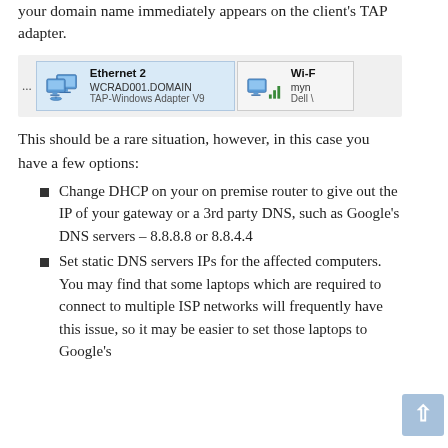your domain name immediately appears on the client's TAP adapter.
[Figure (screenshot): Windows network adapter view showing 'Ethernet 2' with WCRAD001.DOMAIN and TAP-Windows Adapter V9 highlighted in blue, and a partially visible 'Wi-F' adapter (Dell) to the right.]
This should be a rare situation, however, in this case you have a few options:
Change DHCP on your on premise router to give out the IP of your gateway or a 3rd party DNS, such as Google's DNS servers – 8.8.8.8 or 8.8.4.4
Set static DNS servers IPs for the affected computers.  You may find that some laptops which are required to connect to multiple ISP networks will frequently have this issue, so it may be easier to set those laptops to Google's